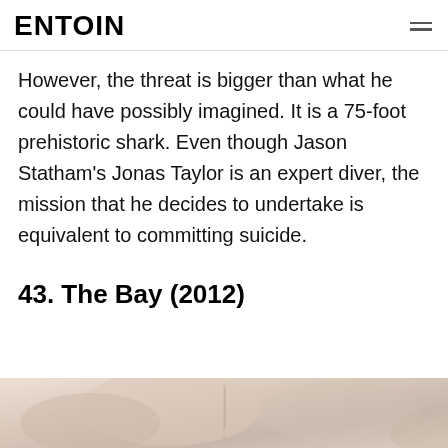ENTOIN
However, the threat is bigger than what he could have possibly imagined. It is a 75-foot prehistoric shark. Even though Jason Statham's Jonas Taylor is an expert diver, the mission that he decides to undertake is equivalent to committing suicide.
43. The Bay (2012)
[Figure (photo): Partial image of a figure or scene, cropped at bottom of page, light skin tones and pale colors visible]